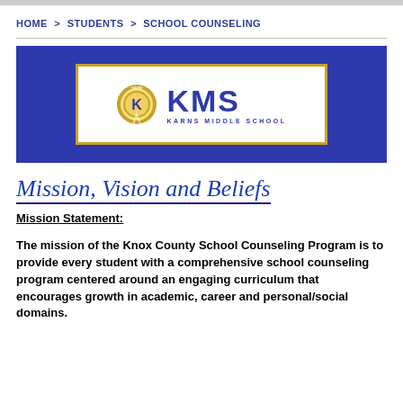HOME > STUDENTS > SCHOOL COUNSELING
[Figure (logo): KMS Karns Middle School logo on a blue banner background. Logo shows a circular emblem with the letter K and the words VISION, PURPOSE, DEVOTION around it, next to large blue KMS letters and the text KARNS MIDDLE SCHOOL.]
Mission, Vision and Beliefs
Mission Statement:
The mission of the Knox County School Counseling Program is to provide every student with a comprehensive school counseling program centered around an engaging curriculum that encourages growth in academic, career and personal/social domains.